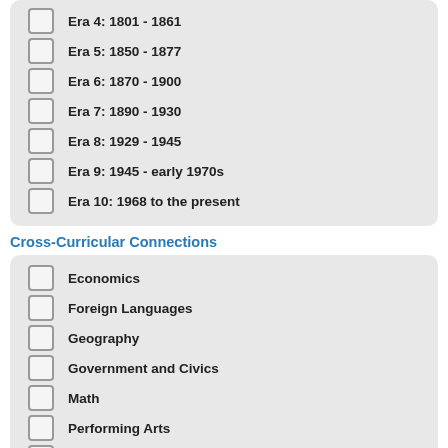Era 4: 1801 - 1861
Era 5: 1850 - 1877
Era 6: 1870 - 1900
Era 7: 1890 - 1930
Era 8: 1929 - 1945
Era 9: 1945 - early 1970s
Era 10: 1968 to the present
Cross-Curricular Connections
Economics
Foreign Languages
Geography
Government and Civics
Math
Performing Arts
Reading
Science
Visual Arts
World History